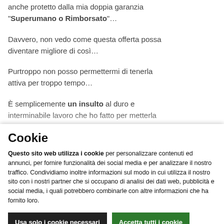anche protetto dalla mia doppia garanzia "Superumano o Rimborsato"...
Davvero, non vedo come questa offerta possa diventare migliore di così...
Purtroppo non posso permettermi di tenerla attiva per troppo tempo...
È semplicemente un insulto al duro e interminabile lavoro che ho fatto per metterla
Cookie
Questo sito web utilizza i cookie per personalizzare contenuti ed annunci, per fornire funzionalità dei social media e per analizzare il nostro traffico. Condividiamo inoltre informazioni sul modo in cui utilizza il nostro sito con i nostri partner che si occupano di analisi dei dati web, pubblicità e social media, i quali potrebbero combinarle con altre informazioni che ha fornito loro.
Usa solo i cookie necessari
Accetta tutti i cookie
Mostra dettagli